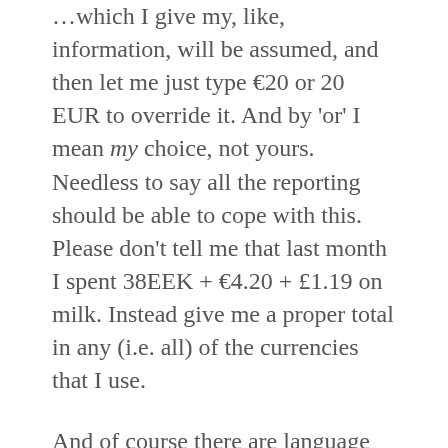…which I give my, like, information, will be assumed, and then let me just type €20 or 20 EUR to override it. And by 'or' I mean my choice, not yours. Needless to say all the reporting should be able to cope with this. Please don't tell me that last month I spent 38EEK + €4.20 + £1.19 on milk. Instead give me a proper total in any (i.e. all) of the currencies that I use.
And of course there are language issues too. When I'm entering my grocery shopping in whichever strange country I'm currently spending time, sometimes I can't even read some of the things…